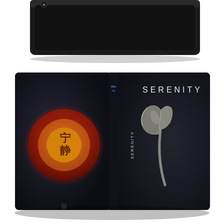[Figure (photo): Top portion: a black steelbook case photographed from above at an angle, showing the top edge with a small logo on the left side. Bottom portion: the same steelbook opened flat showing both covers. The back/left cover has a dark background with a large circular red and orange seal bearing Chinese characters (宁静 meaning 'Serenity'). The spine reads 'SERENITY' vertically with a Blu-ray logo. The front/right cover is dark charcoal/black with the word 'SERENITY' in white spaced letters at the top right, and a battle axe with a curved handle centered in the lower portion, lit dramatically against the dark background.]